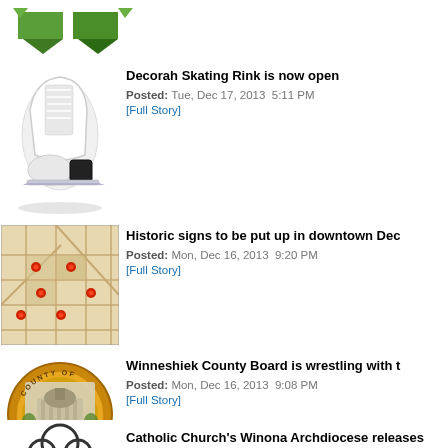[Figure (logo): Green recycling/chat bubble logo icons]
Decorah Skating Rink is now open
Posted: Tue, Dec 17, 2013  5:11 PM
[Full Story]
[Figure (photo): White ice skating boot/skate]
Historic signs to be put up in downtown Dec
Posted: Mon, Dec 16, 2013  9:20 PM
[Full Story]
[Figure (map): Vintage downtown map with red pins]
Winneshiek County Board is wrestling with t
Posted: Mon, Dec 16, 2013  9:08 PM
[Full Story]
[Figure (illustration): Winneshiek County Iowa circular badge/seal]
Catholic Church's Winona Archdiocese releases